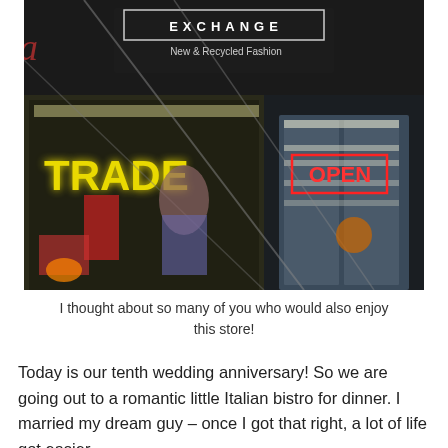[Figure (photo): Storefront photo of a shop called 'EXCHANGE New & Recycled Fashion' at night. A yellow neon sign reads 'TRADE' on the left side and a red neon sign reads 'OPEN' on the right. The store window shows clothing and a person. The exterior has a dark facade with metal poles.]
I thought about so many of you who would also enjoy this store!
Today is our tenth wedding anniversary! So we are going out to a romantic little Italian bistro for dinner. I married my dream guy – once I got that right, a lot of life got easier.